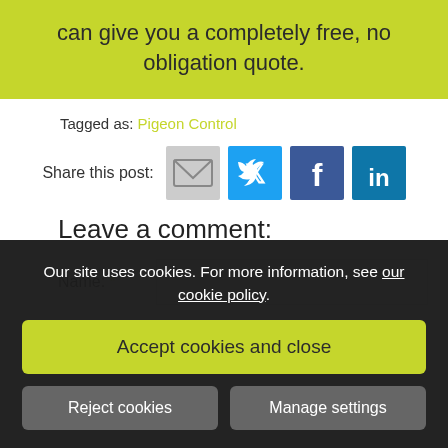can give you a completely free, no obligation quote.
Tagged as: Pigeon Control
Share this post:
Leave a comment:
Name: *
Our site uses cookies. For more information, see our cookie policy.
Accept cookies and close
Reject cookies
Manage settings